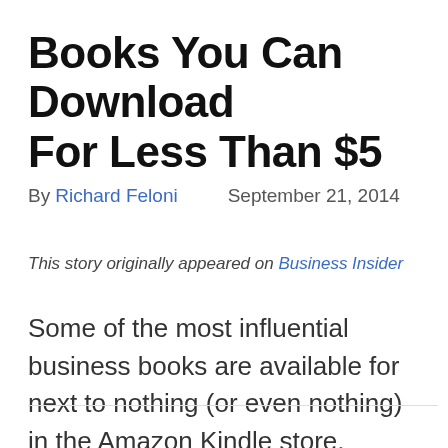Books You Can Download For Less Than $5
By Richard Feloni    September 21, 2014
This story originally appeared on Business Insider
Some of the most influential business books are available for next to nothing (or even nothing) in the Amazon Kindle store.